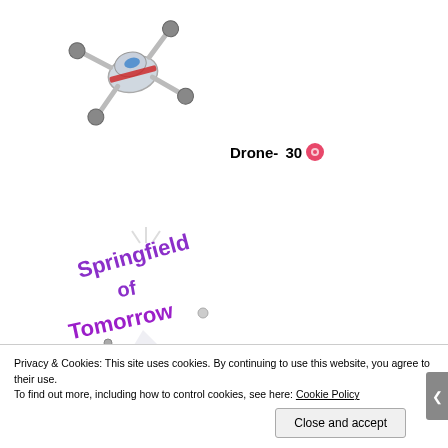[Figure (illustration): Robot drone character illustration — a silver multi-armed flying robot/drone character with blue and red accents, shown upside-down or tumbling]
Drone- 30 [donut icon]
[Figure (illustration): Springfield of Tomorrow Sign illustration — purple/pink stylized text logo reading 'Springfield of Tomorrow' with a spotlight beam and sci-fi ring platform below]
Springfield of Tomorrow Sign*- 35 [donut icon]
[Figure (illustration): Partially visible purple fin shape at bottom of page]
Privacy & Cookies: This site uses cookies. By continuing to use this website, you agree to their use.
To find out more, including how to control cookies, see here: Cookie Policy
Close and accept